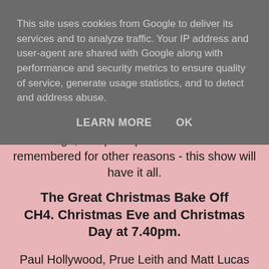This site uses cookies from Google to deliver its services and to analyze traffic. Your IP address and user-agent are shared with Google along with performance and security metrics to ensure quality of service, generate usage statistics, and to detect and address abuse.
LEARN MORE   OK
laugh, and perhaps some that are remembered for other reasons - this show will have it all.
The Great Christmas Bake Off CH4. Christmas Eve and Christmas Day at 7.40pm.
Paul Hollywood, Prue Leith and Matt Lucas are joined by Bake Off: The Professionals host Tom Allen as they celebrate Christmas in the famous white tent. Also invited to the celebrations are Jamie and Rosie from 2019, Ruby from 2018 and James from 2017, all back and ready to battle in the festive fight for the